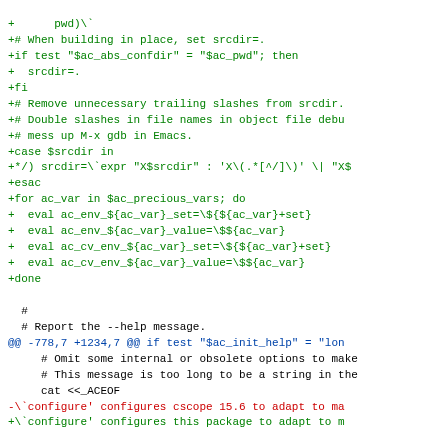Diff/patch code snippet showing additions and context lines in a configure script diff